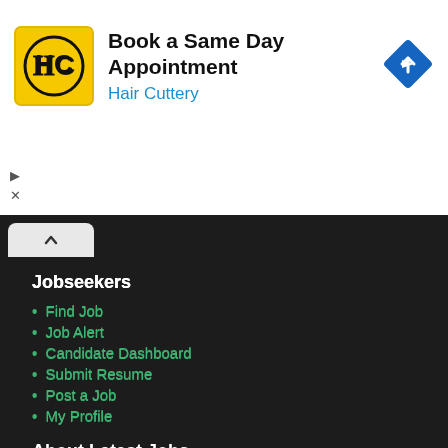[Figure (logo): Hair Cuttery advertisement banner with HC logo, text 'Book a Same Day Appointment' and 'Hair Cuttery', and a blue diamond navigation arrow icon]
Jobseekers
Find Job
Job Alert
Candidate Dashboard
Submit Resume
Post a Job
My Profile
About Latest Jobs
About Us
Our Team
Blog
Privacy Policy